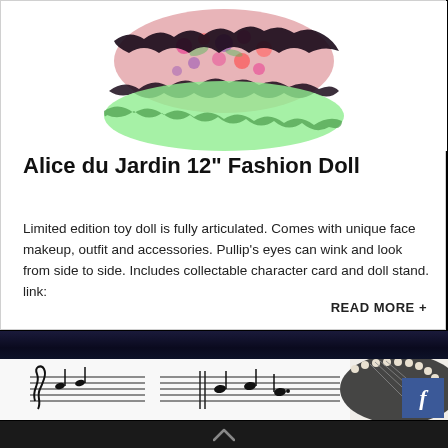[Figure (photo): Partial view of a decorative doll with floral and lace skirt (Alice du Jardin), showing the skirt/dress portion from above]
Alice du Jardin 12” Fashion Doll
Limited edition toy doll is fully articulated. Comes with unique face makeup, outfit and accessories. Pullip’s eyes can wink and look from side to side. Includes collectable character card and doll stand. link:
READ MORE +
[Figure (photo): Close-up photo of a white ceramic mug with music sheet/notes printed on it, with what appears to be a guitar or banjo in the background]
[Figure (logo): Facebook 'f' button/icon in blue]